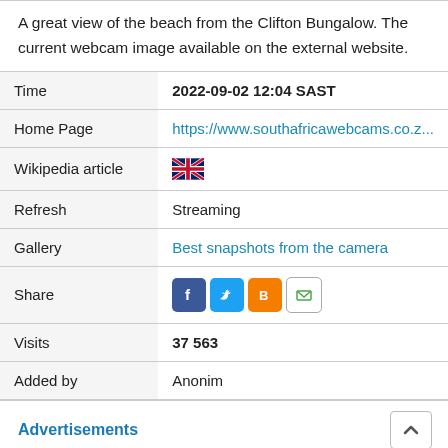A great view of the beach from the Clifton Bungalow. The current webcam image available on the external website.
|  |  |
| --- | --- |
| Time | 2022-09-02 12:04 SAST |
| Home Page | https://www.southafricawebcams.co.z... |
| Wikipedia article | [UK flag] |
| Refresh | Streaming |
| Gallery | Best snapshots from the camera |
| Share | [social icons: Facebook, Twitter, Blogger, Email] |
| Visits | 37 563 |
| Added by | Anonim |
Advertisements